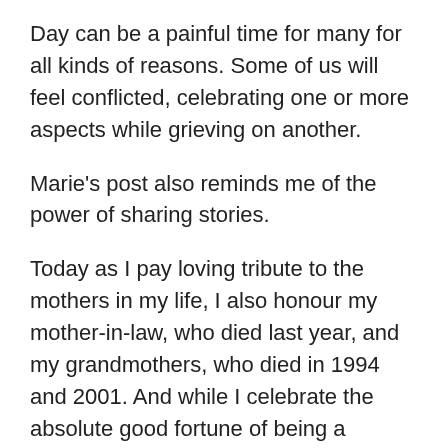Day can be a painful time for many for all kinds of reasons. Some of us will feel conflicted, celebrating one or more aspects while grieving on another.
Marie's post also reminds me of the power of sharing stories.
Today as I pay loving tribute to the mothers in my life, I also honour my mother-in-law, who died last year, and my grandmothers, who died in 1994 and 2001. And while I celebrate the absolute good fortune of being a mother to a wonderful 14-year-old son, I well remember the difficult and painful years of subfertility and pregnancy losses.
If Mother's Day acts as a painful reminder for you, my thoughts are also with you today.
P.S. If you'd like to be sure to catch my next post, please